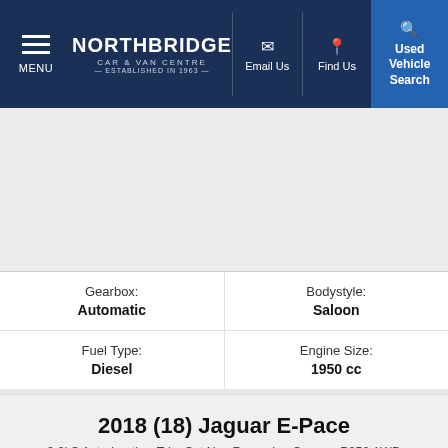NORTHBRIDGE CAR & VAN CENTRE — ESTABLISHED IN 1963 | Menu | Email Us | Find Us | Used Vehicle Search
[Figure (photo): Vehicle image area (light grey placeholder for car photo)]
| Gearbox: | Bodystyle: |
| Automatic | Saloon |
| Fuel Type: | Engine Size: |
| Diesel | 1950 cc |
2018 (18) Jaguar E-Pace
2.0i S Auto Leather Trim Sat Nav Reversing Camera P250 AWD
£25,980